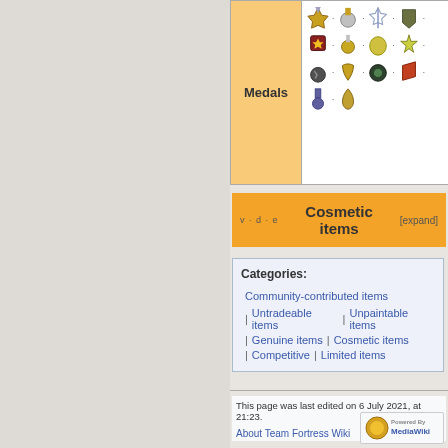| Medals |  |
| --- | --- |
| (medal icons) |  |
v · d · e  Cosmetic items  [expand]
Categories:
Community-contributed items
| Untradeable items | Unpaintable items
| Genuine items | Cosmetic items
| Competitive | Limited items
This page was last edited on 6 July 2021, at 21:23.
About Team Fortress Wiki    Terms of Use